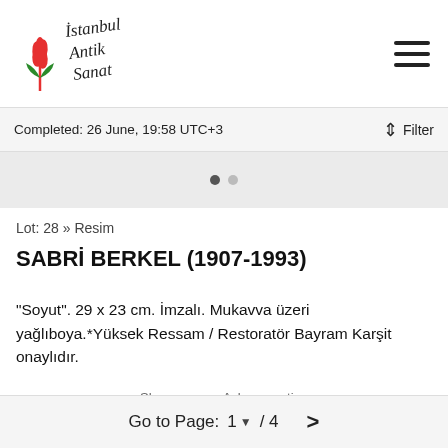Istanbul Antik Sanat logo and hamburger menu
Completed: 26 June, 19:58 UTC+3
[Figure (other): Carousel image placeholder with two navigation dots]
Lot: 28 » Resim
SABRİ BERKEL (1907-1993)
"Soyut". 29 x 23 cm. İmzalı. Mukavva üzeri yağlıboya.*Yüksek Ressam / Restoratör Bayram Karşit onaylıdır.
Go to Page: 1 / 4 >